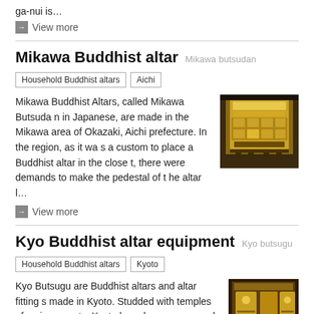ga-nui is…
→ View more
Mikawa Buddhist altar  Mikawa butsudan
Household Buddhist altars
Aichi
Mikawa Buddhist Altars, called Mikawa Butsudan in Japanese, are made in the Mikawa area of Okazaki, Aichi prefecture. In the region, as it was a custom to place a Buddhist altar in the closet, there were demands to make the pedestal of the altar l…
[Figure (photo): Photo of a golden Mikawa Buddhist altar]
→ View more
Kyo Buddhist altar equipment  Kyo butsugu
Household Buddhist altars
Kyoto
Kyo Butsugu are Buddhist altars and altar fittings made in Kyoto. Studded with temples of various sects, Kyoto has always prospered as the ce
[Figure (photo): Photo of Kyo Buddhist altar equipment]